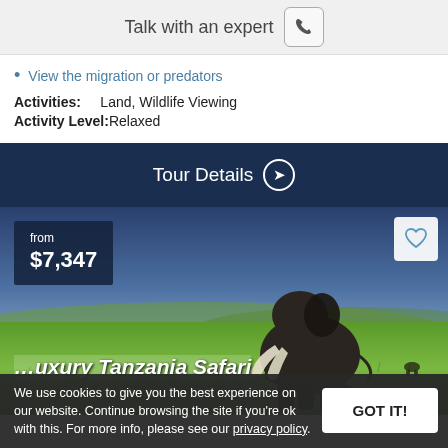Talk with an expert
View the migration or predators
Activities: Land, Wildlife Viewing
Activity Level: Relaxed
Tour Details
[Figure (photo): Elephant walking on green savanna grassland with dark blue sky background, safari scene with price badge showing 'from $7,347' and a heart icon]
Luxury Tanzania Safari
We use cookies to give you the best experience on our website. Continue browsing the site if you're ok with this. For more info, please see our privacy policy.